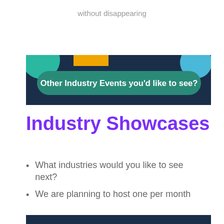without disappearing
[Figure (infographic): Decorative banner with teal/dark navy/orange/blue geometric shapes and white bold text: Other Industry Events you'd like to see?]
Industry Showcases
What industries would you like to see next?
We are planning to host one per month